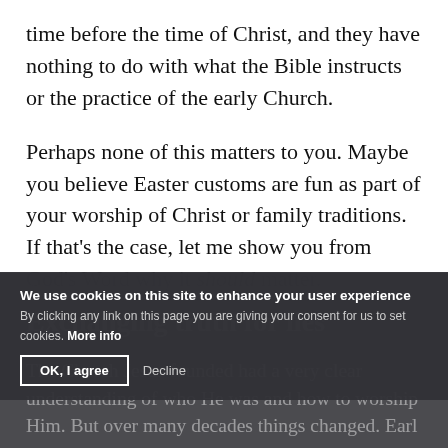time before the time of Christ, and they have nothing to do with what the Bible instructs or the practice of the early Church.
Perhaps none of this matters to you. Maybe you believe Easter customs are fun as part of your worship of Christ or family traditions. If that’s the case, let me show you from God’s Word why it should matter.
Exchanging truth for lies
The Church Jesus founded had a very clear understanding of who He was and how to worship Him. But over many decades things changed. Earl…